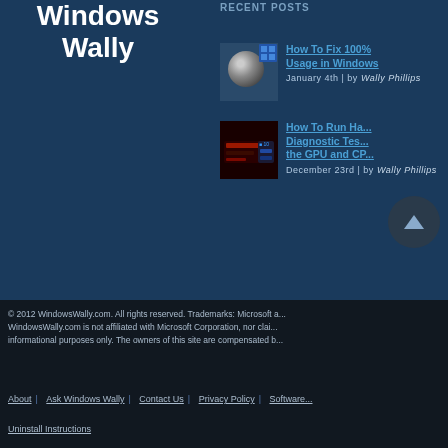Windows Wally
RECENT POSTS
[Figure (screenshot): Hard disk drive thumbnail with Windows logo badge]
How To Fix 100% Disk Usage in Windows
January 4th | by Wally Phillips
[Figure (screenshot): GPU/CPU diagnostic tool screenshot with Windows 10 badge]
How To Run Hardware Diagnostic Tests for the GPU and CPU
December 23rd | by Wally Phillips
© 2012 WindowsWally.com. All rights reserved. Trademarks: Microsoft a... WindowsWally.com is not affiliated with Microsoft Corporation, nor clai... informational purposes only. The owners of this site are compensated b...
About | Ask Windows Wally | Contact Us | Privacy Policy | Software... | Uninstall Instructions